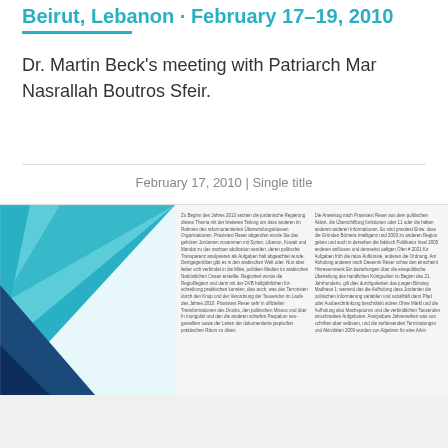Beirut, Lebanon · February 17–19, 2010
Dr. Martin Beck's meeting with Patriarch Mar Nasrallah Boutros Sfeir.
February 17, 2010 | Single title
[Figure (illustration): Abstract geometric triangle design in teal and dark blue on the left side of the lower section, with two columns of blurred German-language body text on the right.]